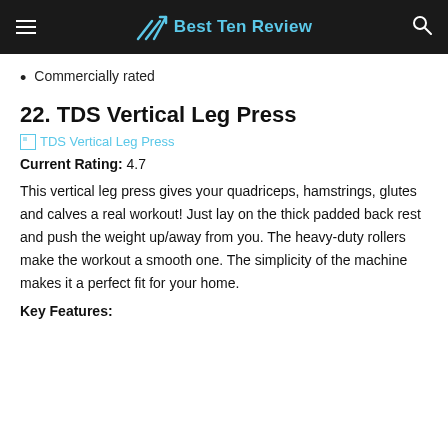Best Ten Review
Commercially rated
22. TDS Vertical Leg Press
[Figure (other): Broken image placeholder with link text: TDS Vertical Leg Press]
Current Rating: 4.7
This vertical leg press gives your quadriceps, hamstrings, glutes and calves a real workout! Just lay on the thick padded back rest and push the weight up/away from you. The heavy-duty rollers make the workout a smooth one. The simplicity of the machine makes it a perfect fit for your home.
Key Features: